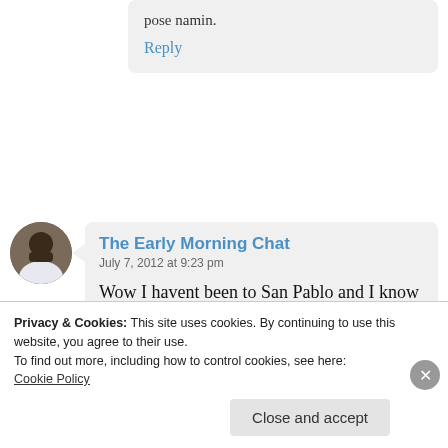pose namin.
Reply
The Early Morning Chat
July 7, 2012 at 9:23 pm
Wow I havent been to San Pablo and I know nothing about it. With your article it
Privacy & Cookies: This site uses cookies. By continuing to use this website, you agree to their use.
To find out more, including how to control cookies, see here:
Cookie Policy
Close and accept